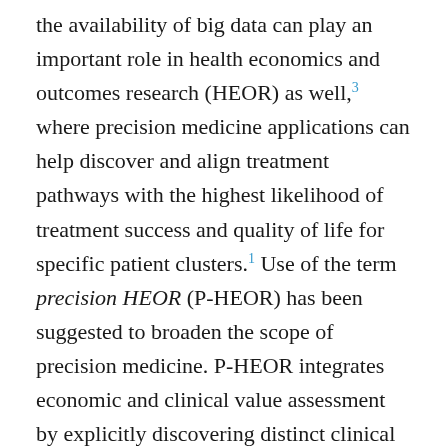the availability of big data can play an important role in health economics and outcomes research (HEOR) as well,³ where precision medicine applications can help discover and align treatment pathways with the highest likelihood of treatment success and quality of life for specific patient clusters.¹ Use of the term precision HEOR (P-HEOR) has been suggested to broaden the scope of precision medicine. P-HEOR integrates economic and clinical value assessment by explicitly discovering distinct clinical and health care utilization phenotypes to optimize the cost-effectiveness of the use of health care interventions.⁴·⁵